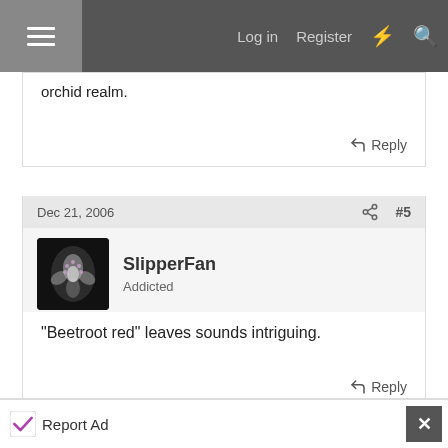Log in  Register
orchid realm.
Reply
Dec 21, 2006  #5
SlipperFan
Addicted
"Beetroot red" leaves sounds intriguing.
Reply
Report Ad